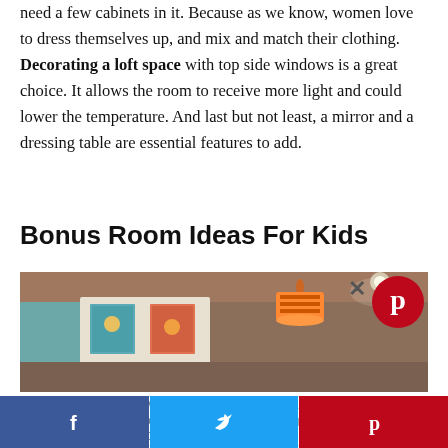need a few cabinets in it. Because as we know, women love to dress themselves up, and mix and match their clothing. Decorating a loft space with top side windows is a great choice. It allows the room to receive more light and could lower the temperature. And last but not least, a mirror and a dressing table are essential features to add.
Bonus Room Ideas For Kids
[Figure (photo): Interior photo of a kids loft room with orange pendant lamp and framed pictures on the wall]
[Figure (logo): Pinterest logo overlay on image]
We Are Professional Deck Bui... and We Want to Ad... List of Happy Customers.
[Figure (screenshot): Advertisement banner with OPEN button]